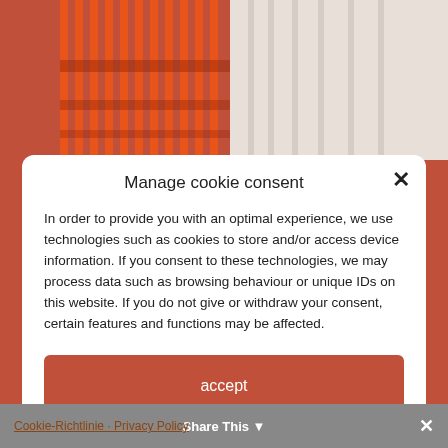[Figure (photo): Background showing orange/red striped fabric on the left and white fabric/curtain on the right]
Manage cookie consent
In order to provide you with an optimal experience, we use technologies such as cookies to store and/or access device information. If you consent to these technologies, we may process data such as browsing behaviour or unique IDs on this website. If you do not give or withdraw your consent, certain features and functions may be affected.
accept
reject
view settings
Cookie-Richtlinie · Privacy Policy   Share This ×